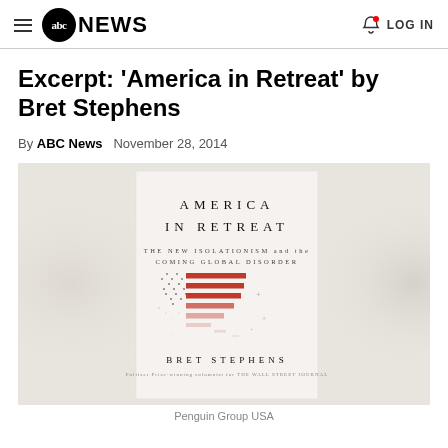abc NEWS | LOG IN
Excerpt: 'America in Retreat' by Bret Stephens
By ABC News  November 28, 2014
[Figure (photo): Book cover of 'America in Retreat: The New Isolationism and the Coming Global Disorder' by Bret Stephens, showing a fading American flag graphic. Published by Penguin Group USA.]
Penguin Group USA